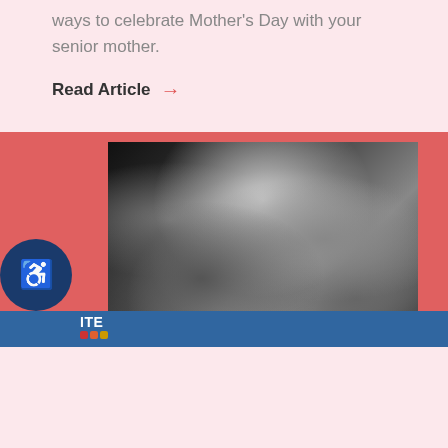ways to celebrate Mother's Day with your senior mother.
Read Article →
[Figure (photo): Black and white photograph of a person lying down wrapped in sheets/blankets, with dramatic lighting and shadows. The image is placed on a coral/red background with a blue bar at the bottom.]